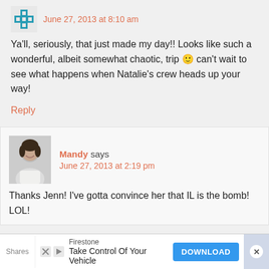June 27, 2013 at 8:10 am
Ya'll, seriously, that just made my day!! Looks like such a wonderful, albeit somewhat chaotic, trip 🙂 can't wait to see what happens when Natalie's crew heads up your way!
Reply
Mandy says
June 27, 2013 at 2:19 pm
Thanks Jenn! I've gotta convince her that IL is the bomb! LOL!
Firestone
Take Control Of Your Vehicle
DOWNLOAD